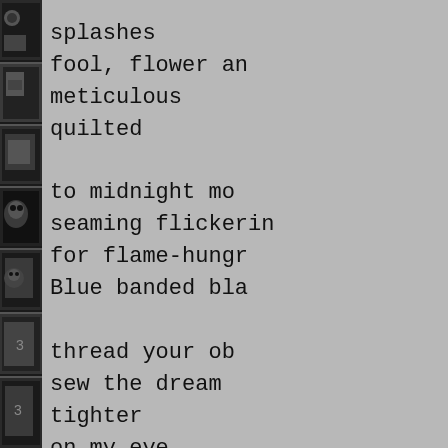[Figure (photo): Black and white photographic strip on the left edge, showing stacked images of skulls, framed artworks, and other objects arranged vertically.]
splashes
fool, flower an
meticulous
quilted

to midnight mo
seaming flickerin
for flame-hungr
Blue banded bla

thread your ob
sew the dream
tighter
on my eye

Blood-bracel
with your blue b